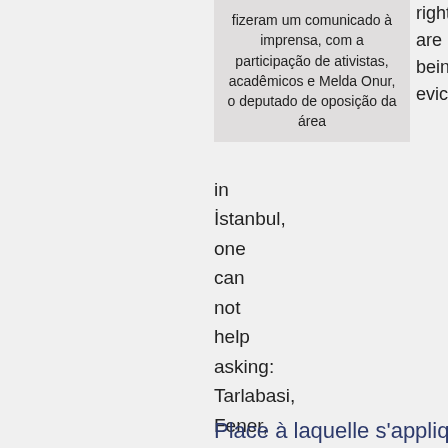fizeram um comunicado à imprensa, com a participação de ativistas, acadêmicos e Melda Onur, o deputado de oposição da área
rights are being evicted
in İstanbul, one can not help asking: Tarlabasi, Fener, Balat, Ayvansaray,Yenikapi,Kumkapi,Tozkoparan, Derbent, Bedreddin.... Which one next?!
Place à laquelle s'applique cet